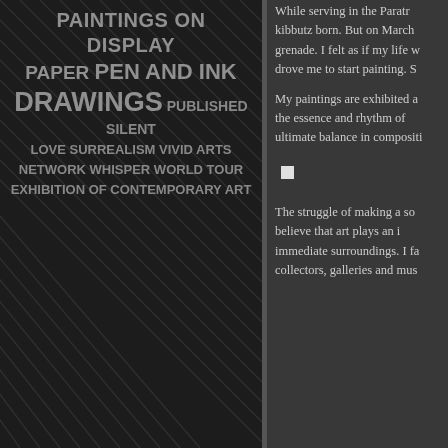[Figure (illustration): Dark panel with diagonal striped lines pattern and bold grey text listing art categories and exhibition names]
While serving in the Paratroopers, kibbutz born. But on March grenade. I felt as if my life w drove me to start painting. S
My paintings are exhibited a the essence and rhythm of ultimate balance in compositi
The struggle of making a so believe that art plays an i immediate surroundings. I fa collectors, galleries and mus